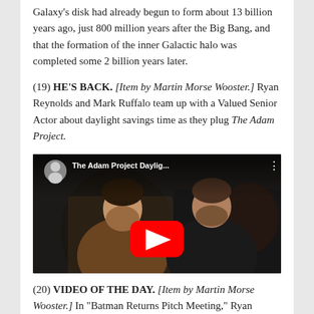Galaxy's disk had already begun to form about 13 billion years ago, just 800 million years after the Big Bang, and that the formation of the inner Galactic halo was completed some 2 billion years later.
(19) HE'S BACK. [Item by Martin Morse Wooster.] Ryan Reynolds and Mark Ruffalo team up with a Valued Senior Actor about daylight savings time as they plug The Adam Project.
[Figure (screenshot): YouTube video thumbnail showing Ryan Reynolds and Mark Ruffalo with title 'The Adam Project Daylig...' and a red play button overlay.]
(20) VIDEO OF THE DAY. [Item by Martin Morse Wooster] In "Batman Returns Pitch Meeting," Ryan...